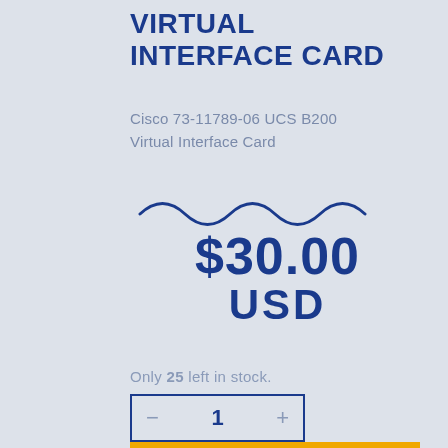VIRTUAL INTERFACE CARD
Cisco 73-11789-06 UCS B200 Virtual Interface Card
[Figure (illustration): Decorative wavy blue line separator]
$30.00 USD
Only 25 left in stock.
- 1 +